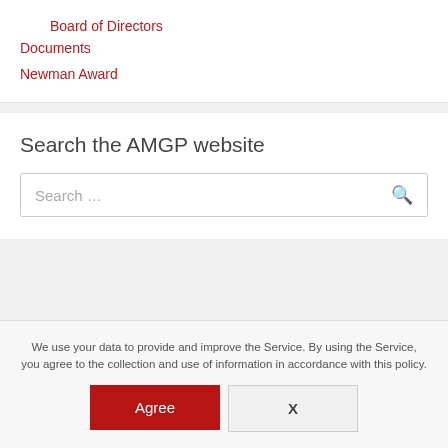Board of Directors
Documents
Newman Award
Search the AMGP website
Search …
We use your data to provide and improve the Service. By using the Service, you agree to the collection and use of information in accordance with this policy.
Agree
X